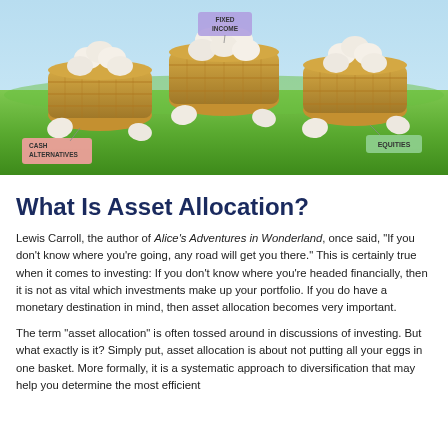[Figure (photo): Photo of three wicker baskets filled with white eggs on green grass. Left basket has a pink tag labeled 'CASH ALTERNATIVES', center basket has a purple tag labeled 'FIXED INCOME', and right basket has a green tag labeled 'EQUITIES'.]
What Is Asset Allocation?
Lewis Carroll, the author of Alice's Adventures in Wonderland, once said, "If you don't know where you're going, any road will get you there." This is certainly true when it comes to investing: If you don't know where you're headed financially, then it is not as vital which investments make up your portfolio. If you do have a monetary destination in mind, then asset allocation becomes very important.
The term "asset allocation" is often tossed around in discussions of investing. But what exactly is it? Simply put, asset allocation is about not putting all your eggs in one basket. More formally, it is a systematic approach to diversification that may help you determine the most efficient